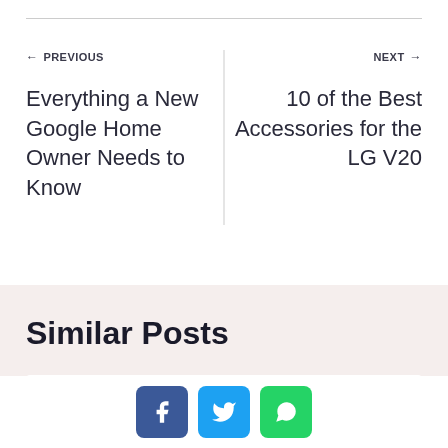← PREVIOUS
Everything a New Google Home Owner Needs to Know
NEXT →
10 of the Best Accessories for the LG V20
Similar Posts
[Figure (other): White card placeholder for similar post]